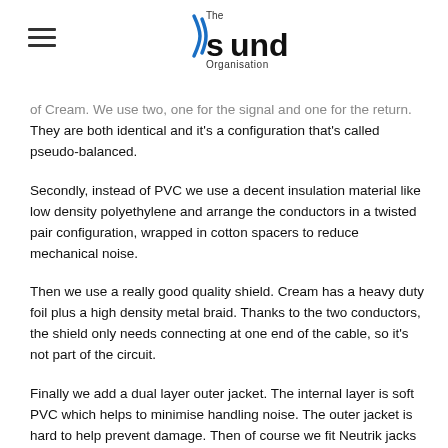The Sound Organisation (logo)
of Cream. We use two, one for the signal and one for the return. They are both identical and it's a configuration that's called pseudo-balanced.
Secondly, instead of PVC we use a decent insulation material like low density polyethylene and arrange the conductors in a twisted pair configuration, wrapped in cotton spacers to reduce mechanical noise.
Then we use a really good quality shield. Cream has a heavy duty foil plus a high density metal braid. Thanks to the two conductors, the shield only needs connecting at one end of the cable, so it's not part of the circuit.
Finally we add a dual layer outer jacket. The internal layer is soft PVC which helps to minimise handling noise. The outer jacket is hard to help prevent damage. Then of course we fit Neutrik jacks and XLR plugs – still the best option.
With any interconnecting...